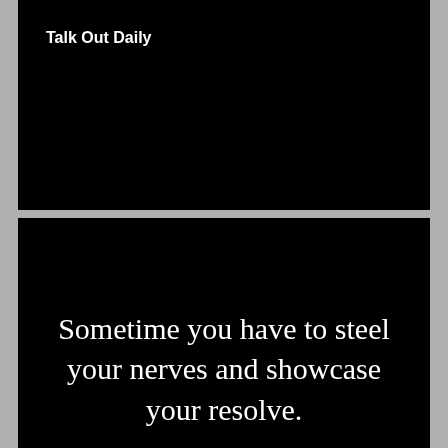Talk Out Daily
Sometime you have to steel your nerves and showcase your resolve.